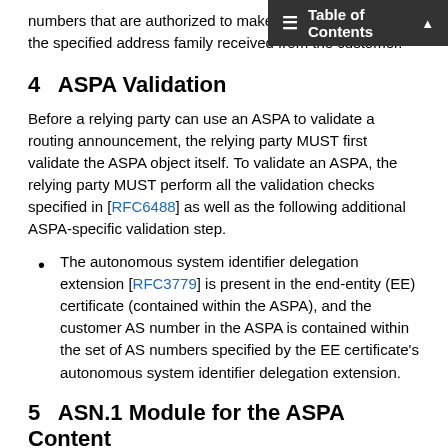numbers that are authorized to make announcements in the specified address family received from the customer.
4. ASPA Validation
Before a relying party can use an ASPA to validate a routing announcement, the relying party MUST first validate the ASPA object itself. To validate an ASPA, the relying party MUST perform all the validation checks specified in [RFC6488] as well as the following additional ASPA-specific validation step.
The autonomous system identifier delegation extension [RFC3779] is present in the end-entity (EE) certificate (contained within the ASPA), and the customer AS number in the ASPA is contained within the set of AS numbers specified by the EE certificate's autonomous system identifier delegation extension.
5. ASN.1 Module for the ASPA Content